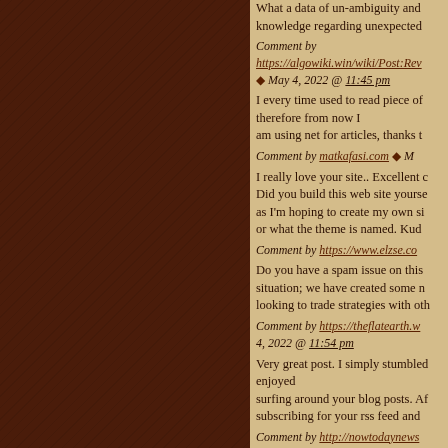What a data of un-ambiguity and knowledge regarding unexpected
Comment by https://algowiki.win/wiki/Post:Revo ◆ May 4, 2022 @ 11:45 pm
I every time used to read piece of therefore from now I am using net for articles, thanks t
Comment by matkafasi.com ◆ M
I really love your site.. Excellent c Did you build this web site yourse as I'm hoping to create my own si or what the theme is named. Kud
Comment by https://www.elzse.co
Do you have a spam issue on this situation; we have created some n looking to trade strategies with oth
Comment by https://theflatearth.w 4, 2022 @ 11:54 pm
Very great post. I simply stumbled enjoyed surfing around your blog posts. Af subscribing for your rss feed and
Comment by http://nowtodaynews @ 11:57 pm